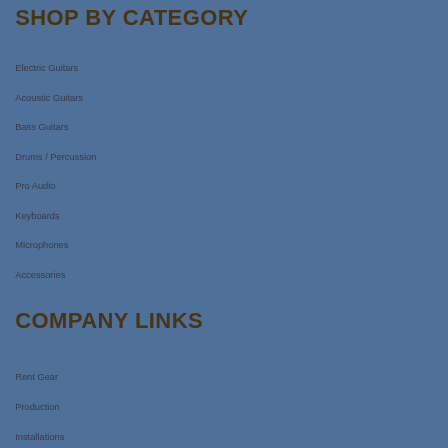SHOP BY CATEGORY
Electric Guitars
Acoustic Guitars
Bass Guitars
Drums / Percussion
Pro Audio
Keyboards
Microphones
Accessories
COMPANY LINKS
Rent Gear
Production
Installations